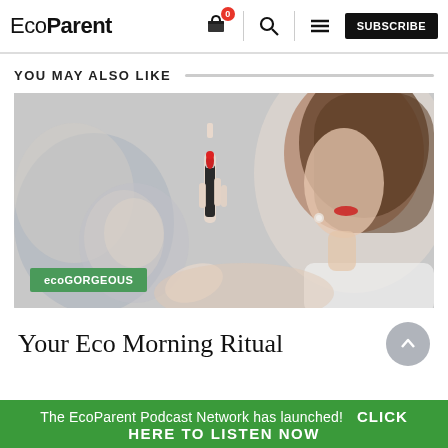EcoParent — navigation header with logo, cart, search, menu, and SUBSCRIBE button
YOU MAY ALSO LIKE
[Figure (photo): Woman holding a red lipstick up near her face, looking into a mirror, with a green 'ecoGORGEOUS' category tag overlaid at bottom left]
Your Eco Morning Ritual
The EcoParent Podcast Network has launched! CLICK HERE TO LISTEN NOW